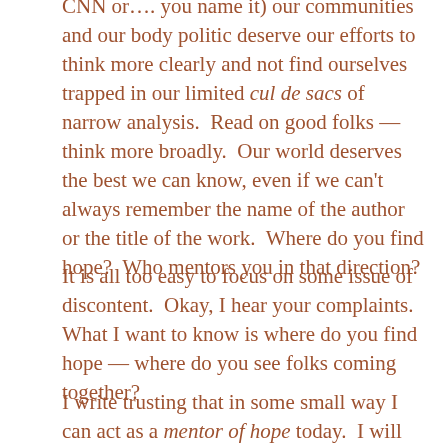CNN or.... you name it) our communities and our body politic deserve our efforts to think more clearly and not find ourselves trapped in our limited cul de sacs of narrow analysis.  Read on good folks — think more broadly.  Our world deserves the best we can know, even if we can't always remember the name of the author or the title of the work.  Where do you find hope?  Who mentors you in that direction?
It is all too easy to focus on some issue of discontent.  Okay, I hear your complaints.  What I want to know is where do you find hope — where do you see folks coming together?
I write trusting that in some small way I can act as a mentor of hope today.  I will have my issues of